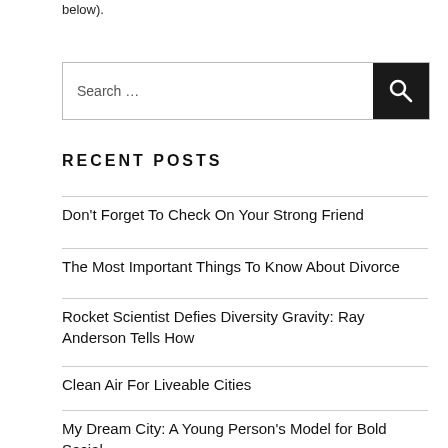below).
RECENT POSTS
Don't Forget To Check On Your Strong Friend
The Most Important Things To Know About Divorce
Rocket Scientist Defies Diversity Gravity: Ray Anderson Tells How
Clean Air For Liveable Cities
My Dream City: A Young Person's Model for Bold Social